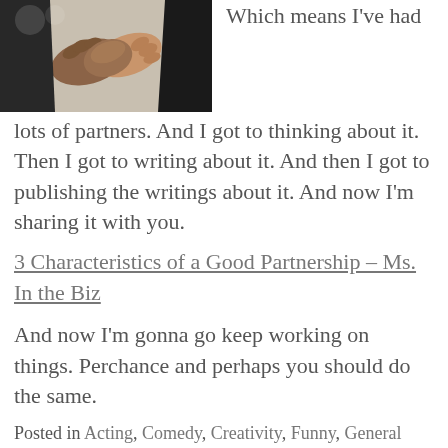[Figure (photo): Two people shaking hands, wearing dark suits, close-up of the handshake]
Which means I've had lots of partners. And I got to thinking about it. Then I got to writing about it. And then I got to publishing the writings about it. And now I'm sharing it with you.
3 Characteristics of a Good Partnership – Ms. In the Biz
And now I'm gonna go keep working on things. Perchance and perhaps you should do the same.
Posted in Acting, Comedy, Creativity, Funny, General